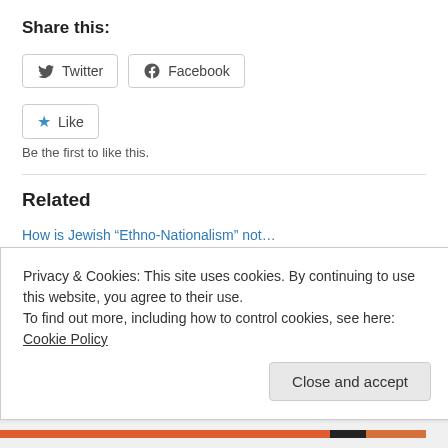Share this:
Twitter  Facebook
Like
Be the first to like this.
Related
How is Jewish “Ethno-Nationalism” not…
November 24, 2016
Pirates, Ransoms & The Talmudic Sages
Privacy & Cookies: This site uses cookies. By continuing to use this website, you agree to their use.
To find out more, including how to control cookies, see here: Cookie Policy
Close and accept